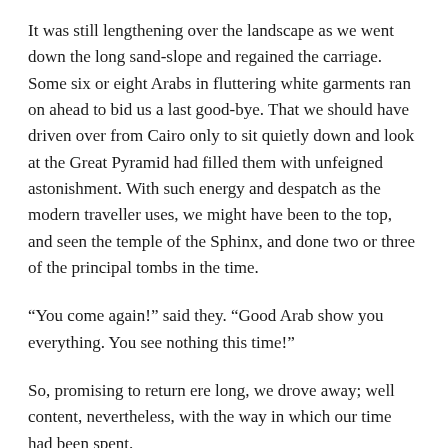It was still lengthening over the landscape as we went down the long sand-slope and regained the carriage. Some six or eight Arabs in fluttering white garments ran on ahead to bid us a last good-bye. That we should have driven over from Cairo only to sit quietly down and look at the Great Pyramid had filled them with unfeigned astonishment. With such energy and despatch as the modern traveller uses, we might have been to the top, and seen the temple of the Sphinx, and done two or three of the principal tombs in the time.
“You come again!” said they. “Good Arab show you everything. You see nothing this time!”
So, promising to return ere long, we drove away; well content, nevertheless, with the way in which our time had been spent.